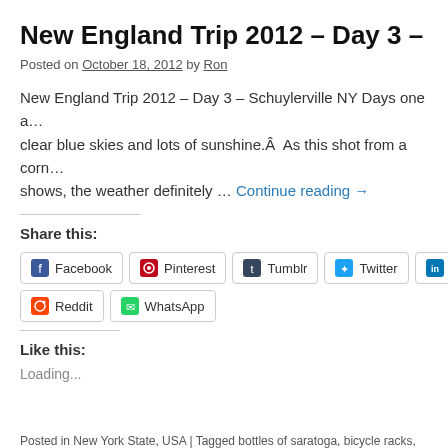New England Trip 2012 – Day 3 – Schuyle
Posted on October 18, 2012 by Ron
New England Trip 2012 – Day 3 – Schuylerville NY Days one a… clear blue skies and lots of sunshine.Â  As this shot from a corn… shows, the weather definitely … Continue reading →
Share this:
Facebook
Pinterest
Tumblr
Twitter
LinkedIn
Reddit
WhatsApp
Like this:
Loading...
Posted in New York State, USA | Tagged bottles of saratoga, bicycle racks,